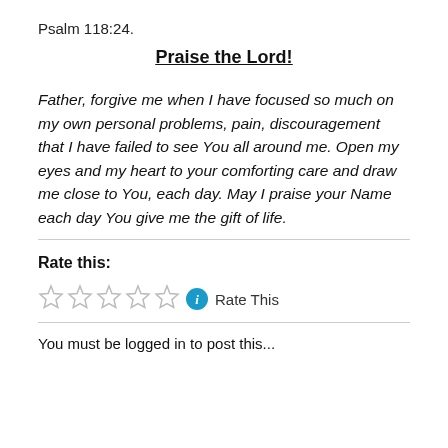Psalm 118:24.
Praise the Lord!
Father, forgive me when I have focused so much on my own personal problems, pain, discouragement that I have failed to see You all around me. Open my eyes and my heart to your comforting care and draw me close to You, each day. May I praise your Name each day You give me the gift of life.
Rate this:
Rate This
You must be logged in to post this...